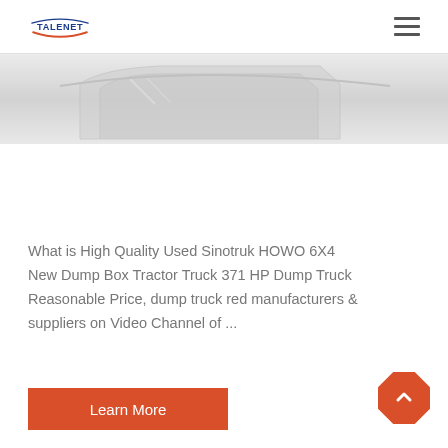TALENET
[Figure (photo): Partial view of a dump truck cab/body, light gray metallic surface, cropped at top of page]
What is High Quality Used Sinotruk HOWO 6X4 New Dump Box Tractor Truck 371 HP Dump Truck Reasonable Price, dump truck red manufacturers & suppliers on Video Channel of ...
Learn More